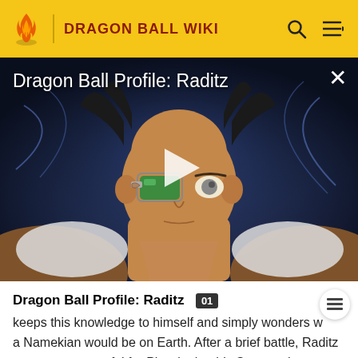DRAGON BALL WIKI
[Figure (screenshot): Animated screenshot of Raditz character from Dragon Ball with scouter, dark background with energy effects, play button overlay]
Dragon Ball Profile: Raditz
Dragon Ball Profile: Raditz
keeps this knowledge to himself and simply wonders w a Namekian would be on Earth. After a brief battle, Raditz proves too powerful for Piccolo, but his Scouter detects his brother and he flies to Kame House. Raditz finally